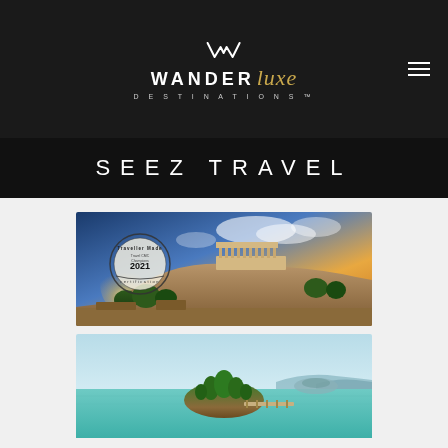WanderLuxe Destinations
SEEZ TRAVEL
[Figure (photo): Aerial view of the Acropolis in Athens, Greece at golden hour sunset, with a circular stamp/seal overlay reading 'Traveller Made certification 2021 Travel CMC Champions']
[Figure (photo): Scenic coastal view of a small island with trees connected by a wooden walkway, turquoise calm sea, distant hills in the background - likely Zakynthos, Greece]